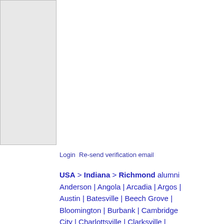[Figure (other): Gray sidebar/panel on the left side of the page]
Login Re-send verification email
USA > Indiana > Richmond alumni Anderson | Angola | Arcadia | Argos | Austin | Batesville | Beech Grove | Bloomington | Burbank | Cambridge City | Charlottsville | Clarksville | Clayton | Connersville | Converse |